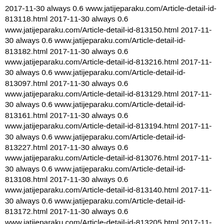2017-11-30 always 0.6 www.jatijeparaku.com/Article-detail-id-813118.html 2017-11-30 always 0.6 www.jatijeparaku.com/Article-detail-id-813150.html 2017-11-30 always 0.6 www.jatijeparaku.com/Article-detail-id-813182.html 2017-11-30 always 0.6 www.jatijeparaku.com/Article-detail-id-813216.html 2017-11-30 always 0.6 www.jatijeparaku.com/Article-detail-id-813097.html 2017-11-30 always 0.6 www.jatijeparaku.com/Article-detail-id-813129.html 2017-11-30 always 0.6 www.jatijeparaku.com/Article-detail-id-813161.html 2017-11-30 always 0.6 www.jatijeparaku.com/Article-detail-id-813194.html 2017-11-30 always 0.6 www.jatijeparaku.com/Article-detail-id-813227.html 2017-11-30 always 0.6 www.jatijeparaku.com/Article-detail-id-813076.html 2017-11-30 always 0.6 www.jatijeparaku.com/Article-detail-id-813108.html 2017-11-30 always 0.6 www.jatijeparaku.com/Article-detail-id-813140.html 2017-11-30 always 0.6 www.jatijeparaku.com/Article-detail-id-813172.html 2017-11-30 always 0.6 www.jatijeparaku.com/Article-detail-id-813205.html 2017-11-30 always 0.6 www.jatijeparaku.com/Article-detail-id-813238.html 2017-11-30 always 0.6 www.jatijeparaku.com/Article-detail-id-813087.html 2017-11-30 always 0.6 www.jatijeparaku.com/Article-detail-id-813119.html 2017-11-30 always 0.6 www.jatijeparaku.com/Article-detail-id-813151.html 2017-11-30 always 0.6 www.jatijeparaku.com/Article-detail-id-813183.html 2017-11-30 always 0.6